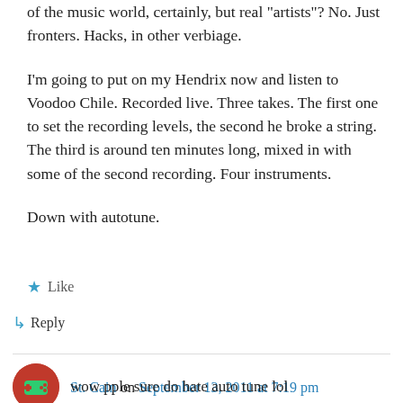of the music world, certainly, but real 'artists'? No. Just fronters. Hacks, in other verbiage.
I'm going to put on my Hendrix now and listen to Voodoo Chile. Recorded live. Three takes. The first one to set the recording levels, the second he broke a string. The third is around ten minutes long, mixed in with some of the second recording. Four instruments.
Down with autotune.
★ Like
↳ Reply
St. Cain on September 13, 2011 at 7:19 pm
wow pple sure do hate auto tune lol